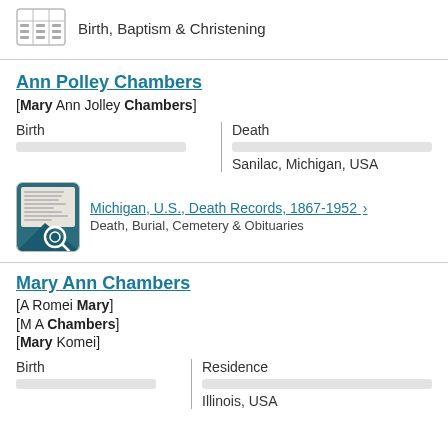[Figure (illustration): Small icon of a document/table with rows and columns]
Birth, Baptism & Christening
Ann Polley Chambers [Mary Ann Jolley Chambers]
Birth
Death
Sanilac, Michigan, USA
[Figure (photo): Thumbnail of a Michigan death record document with magnifying glass icon]
Michigan, U.S., Death Records, 1867-1952 > Death, Burial, Cemetery & Obituaries
Mary Ann Chambers [A Romei Mary] [M A Chambers] [Mary Komei]
Birth
Residence
Illinois, USA